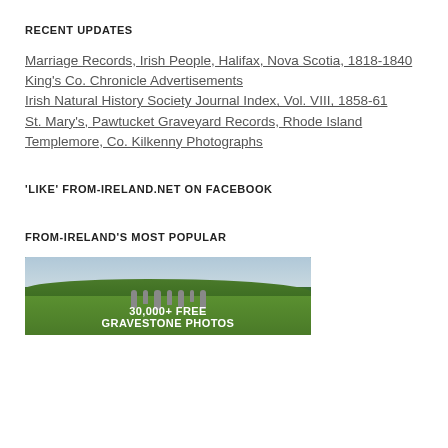RECENT UPDATES
Marriage Records, Irish People, Halifax, Nova Scotia, 1818-1840
King's Co. Chronicle Advertisements
Irish Natural History Society Journal Index, Vol. VIII, 1858-61
St. Mary's, Pawtucket Graveyard Records, Rhode Island
Templemore, Co. Kilkenny Photographs
'LIKE' FROM-IRELAND.NET ON FACEBOOK
FROM-IRELAND'S MOST POPULAR
[Figure (photo): A graveyard scene with green rolling hills in the background and gravestones in the foreground. Text overlay reads '30,000+ FREE GRAVESTONE PHOTOS']